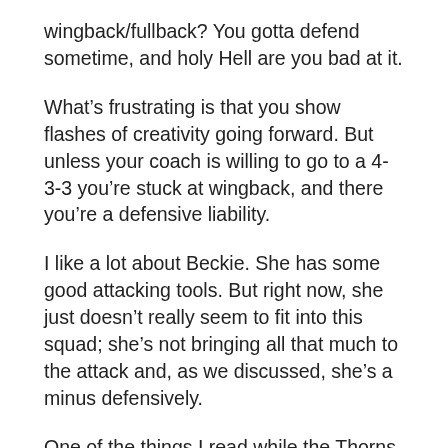wingback/fullback? You gotta defend sometime, and holy Hell are you bad at it.
What's frustrating is that you show flashes of creativity going forward. But unless your coach is willing to go to a 4-3-3 you're stuck at wingback, and there you're a defensive liability.
I like a lot about Beckie. She has some good attacking tools. But right now, she just doesn't really seem to fit into this squad; she's not bringing all that much to the attack and, as we discussed, she's a minus defensively.
One of the things I read while the Thorns struggled through the Cup and into the regular season is “the Thorns managment – KK and RW – are over their heads,